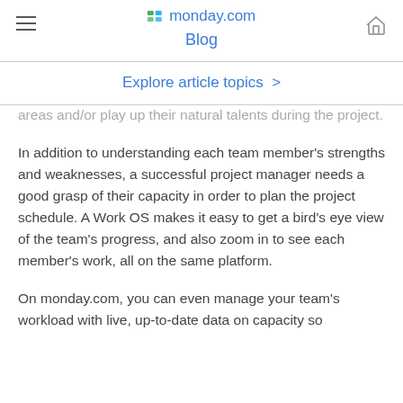monday.com Blog
Explore article topics >
areas and/or play up their natural talents during the project.
In addition to understanding each team member's strengths and weaknesses, a successful project manager needs a good grasp of their capacity in order to plan the project schedule. A Work OS makes it easy to get a bird's eye view of the team's progress, and also zoom in to see each member's work, all on the same platform.
On monday.com, you can even manage your team's workload with live, up-to-date data on capacity so